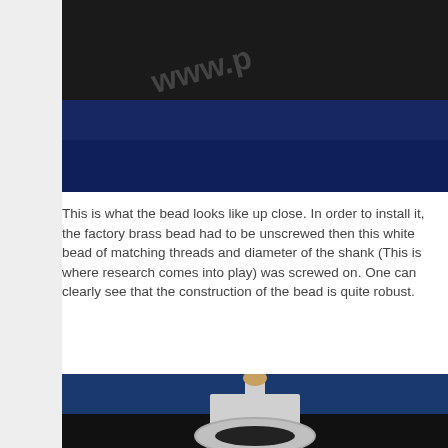[Figure (photo): Close-up photo of a bead against a dark background, partially cut off. A website URL 'www.p...' is visible in gray text overlay on the dark surface.]
This is what the bead looks like up close. In order to install it, the factory brass bead had to be unscrewed then this white bead of matching threads and diameter of the shank (This is where research comes into play) was screwed on. One can clearly see that the construction of the bead is quite robust.
[Figure (photo): Close-up photo of a white/silver front sight bead mounted on a firearm sight base, with a small brass/tan rounded top, against a blue and dark background.]